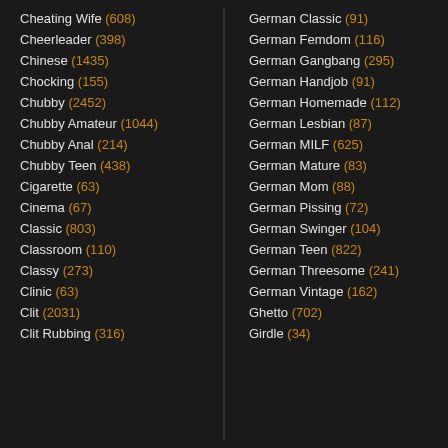Cheating Wife (608)
Cheerleader (398)
Chinese (1435)
Chocking (155)
Chubby (2452)
Chubby Amateur (1044)
Chubby Anal (214)
Chubby Teen (438)
Cigarette (63)
Cinema (67)
Classic (803)
Classroom (110)
Classy (273)
Clinic (63)
Clit (2031)
Clit Rubbing (316)
German Classic (91)
German Femdom (116)
German Gangbang (295)
German Handjob (91)
German Homemade (112)
German Lesbian (87)
German MILF (625)
German Mature (83)
German Mom (88)
German Pissing (72)
German Swinger (104)
German Teen (822)
German Threesome (241)
German Vintage (162)
Ghetto (702)
Girdle (34)